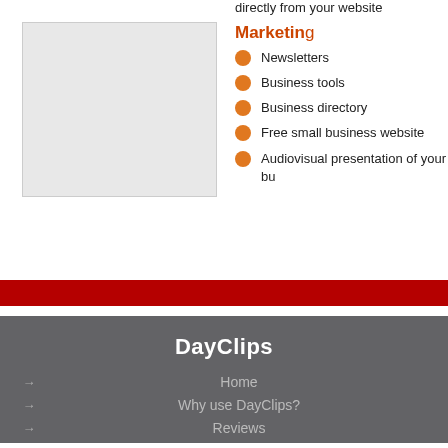[Figure (screenshot): Light gray placeholder image box on the left side]
directly from your website
Marketing
Newsletters
Business tools
Business directory
Free small business website
Audiovisual presentation of your bu
DayClips
Home
Why use DayClips?
Reviews